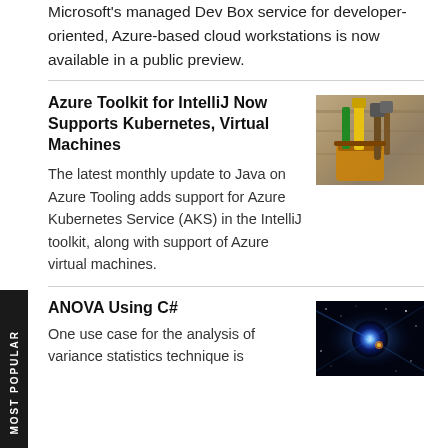Microsoft's managed Dev Box service for developer-oriented, Azure-based cloud workstations is now available in a public preview.
Azure Toolkit for IntelliJ Now Supports Kubernetes, Virtual Machines
[Figure (photo): Photo of a leather tool bag/belt with hammers and various tools hanging on a wooden wall]
The latest monthly update to Java on Azure Tooling adds support for Azure Kubernetes Service (AKS) in the IntelliJ toolkit, along with support of Azure virtual machines.
ANOVA Using C#
[Figure (photo): Photo of a glowing galaxy or cosmic phenomenon with blue light rays and particles on dark background]
One use case for the analysis of variance statistics technique is